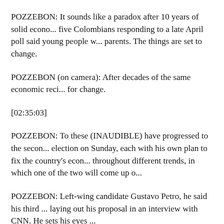POZZEBON: It sounds like a paradox after 10 years of solid econo... five Colombians responding to a late April poll said young people w... parents. The things are set to change.
POZZEBON (on camera): After decades of the same economic reci... for change.
[02:35:03]
POZZEBON: To these (INAUDIBLE) have progressed to the seco... election on Sunday, each with his own plan to fix the country's econ... throughout different trends, in which one of the two will come up o...
POZZEBON: Left-wing candidate Gustavo Petro, he said his third ... laying out his proposal in an interview with CNN. He sets his eyes ...